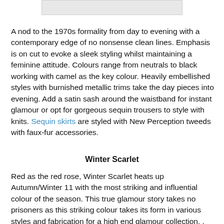[Figure (photo): Partial image visible at top of page, cropped at the top edge]
A nod to the 1970s formality from day to evening with a contemporary edge of no nonsense clean lines. Emphasis is on cut to evoke a sleek styling whilst maintaining a feminine attitude. Colours range from neutrals to black working with camel as the key colour. Heavily embellished styles with burnished metallic trims take the day pieces into evening. Add a satin sash around the waistband for instant glamour or opt for gorgeous sequin trousers to style with knits. Sequin skirts are styled with New Perception tweeds with faux-fur accessories.
Winter Scarlet
Red as the red rose, Winter Scarlet heats up Autumn/Winter 11 with the most striking and influential colour of the season. This true glamour story takes no prisoners as this striking colour takes its form in various styles and fabrication for a high end glamour collection. . The range features both mini and maxi dress options. Red ruffle detailed dresses are flirty